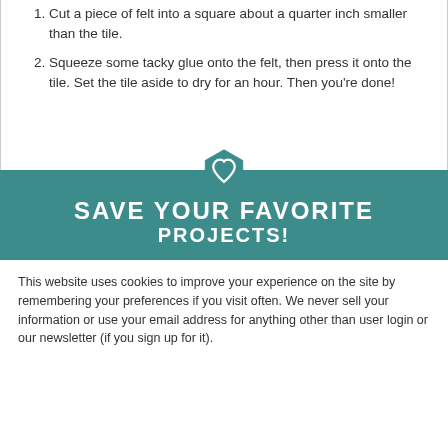Cut a piece of felt into a square about a quarter inch smaller than the tile.
Squeeze some tacky glue onto the felt, then press it onto the tile. Set the tile aside to dry for an hour. Then you're done!
[Figure (infographic): Teal banner with heart badge icon at top center, large white bold uppercase text reading SAVE YOUR FAVORITE PROJECTS!]
This website uses cookies to improve your experience on the site by remembering your preferences if you visit often. We never sell your information or use your email address for anything other than user login or our newsletter (if you sign up for it).
[Figure (screenshot): Accept button and advertisement banner with in-store shopping, curbside pickup, and delivery checkmarks, plus a directional arrow sign icon.]